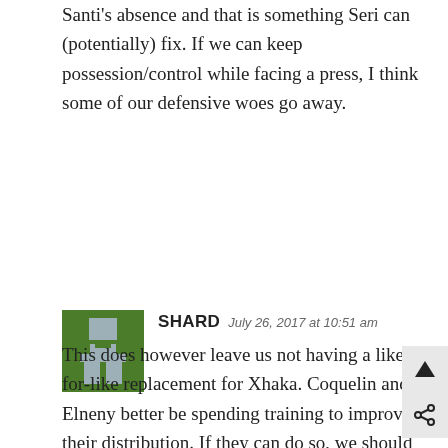Santi's absence and that is something Seri can (potentially) fix. If we can keep possession/control while facing a press, I think some of our defensive woes go away.
SHARD   July 26, 2017 at 10:51 am
[Figure (illustration): Green square avatar with gray pixel-art figure icon]
This does however leave us not having a like-for-like replacement for Xhaka. Coquelin and Elneny better be spending training to improve their distribution. If they can do so, we should be ok.

But more likely as not, they can't. Not sure who a Xhaka replacement can be, but maybe the idea is that Coquelin can play the foil to Seri like with